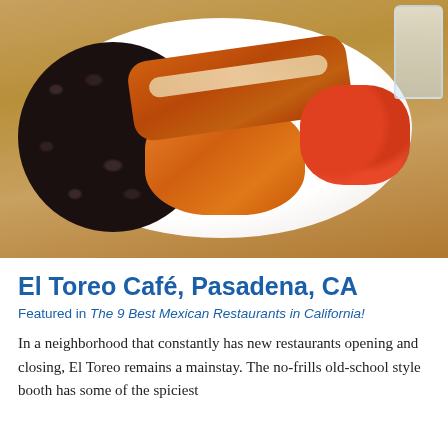[Figure (photo): A white plate with Mexican food: black beans on the left, orange Spanish rice in the center, enchiladas covered in red sauce and melted cheese in the upper center, and pico de gallo (diced tomatoes, onion, cilantro) on the right. A glass of water is visible in the upper right corner. The plate sits on a wooden table.]
El Toreo Café, Pasadena, CA
Featured in The 9 Best Mexican Restaurants in California!
In a neighborhood that constantly has new restaurants opening and closing, El Toreo remains a mainstay. The no-frills old-school style booth has some of the spiciest